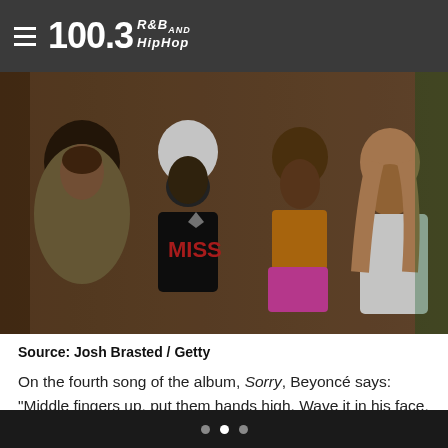100.3 R&B and HipHop
[Figure (photo): Four women posing together; second from left wearing a black jacket with 'MISS' text and a white knit beanie; others in olive t-shirt, orange top with pink skirt, and white outfit.]
Source: Josh Brasted / Getty
On the fourth song of the album, Sorry, Beyoncé says: “Middle fingers up, put them hands high. Wave it in his face, tell him, boy, bye. Tell him, boy, bye, middle fingers up. I ain’t thinking